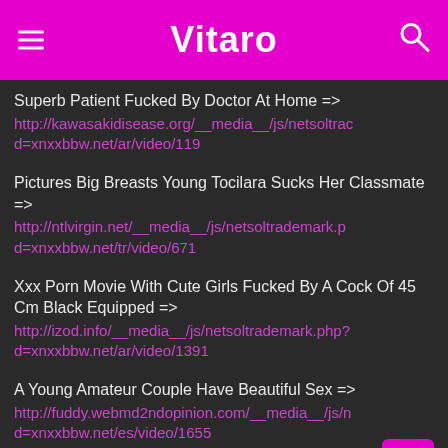Vitaro
Superb Patient Fucked By Doctor At Home => http://kawasakidisease.org/__media__/js/netsoltrac d=xnxxbbw.net/ar/video/119
Pictures Big Breasts Young Tocilara Sucks Her Classmate => http://ntlvirgin.net/__media__/js/netsoltrademark.p d=xnxxbbw.net/tr/video/671
Xxx Porn Movie With Cute Girls Fucked By A Cock Of 45 Cm Black Equipped => http://izod.info/__media__/js/netsoltrademark.php? d=xnxxbbw.net/ar/video/1391
A Young Amateur Couple Have Beautiful Sex => http://fuddy.webmd2ndopinion.com/__media__/js/n d=xnxxbbw.net/es/video/1655
Futai in three with two beautiful and crazy dancers => http://kaph.boat-